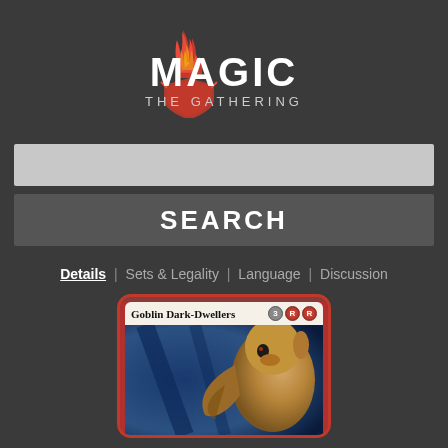[Figure (logo): Magic: The Gathering logo with flame/spark symbol above the text MAGIC and subtitle THE GATHERING]
[Figure (other): Search input bar (light gray rectangle)]
SEARCH
Details | Sets & Legality | Language | Discussion
[Figure (illustration): Magic: The Gathering card - Goblin Dark-Dwellers with mana cost 3RR, showing artwork of a goblin creature against a dark blue background]